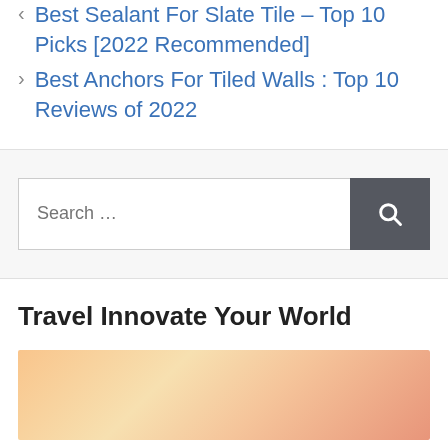< Best Sealant For Slate Tile – Top 10 Picks [2022 Recommended]
> Best Anchors For Tiled Walls : Top 10 Reviews of 2022
Search ...
Travel Innovate Your World
[Figure (photo): Warm orange and yellow gradient sunset image, partially visible at bottom of page]